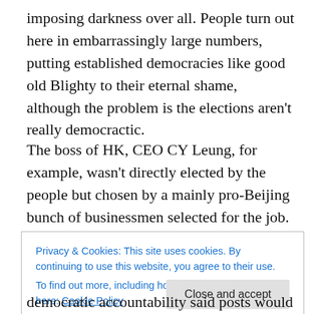imposing darkness over all. People turn out here in embarrassingly large numbers, putting established democracies like good old Blighty to their eternal shame, although the problem is the elections aren't really democractic.
The boss of HK, CEO CY Leung, for example, wasn't directly elected by the people but chosen by a mainly pro-Beijing bunch of businessmen selected for the job. Then there are this week's elections for legislative councillors. The LegCo, as the 'parliament' is known, has been
Privacy & Cookies: This site uses cookies. By continuing to use this website, you agree to their use.
To find out more, including how to control cookies, see here: Cookie Policy
democratic accountability said posts would have. Also, the